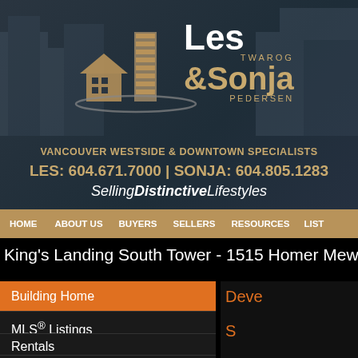[Figure (logo): Les Twarog & Sonja Pedersen real estate logo with stylized building icons, Vancouver Westside & Downtown Specialists, phone numbers, and Selling Distinctive Lifestyles tagline]
HOME | ABOUT US | BUYERS | SELLERS | RESOURCES | LIST
King's Landing South Tower - 1515 Homer Mews -
Building Home
MLS® Listings
Rentals
Open Houses
Documents
Deve
S
Levels